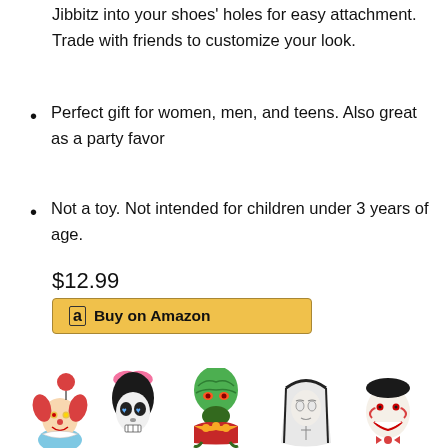Jibbitz into your shoes' holes for easy attachment. Trade with friends to customize your look.
Perfect gift for women, men, and teens. Also great as a party favor
Not a toy. Not intended for children under 3 years of age.
$12.99
[Figure (other): Amazon Buy on Amazon button with Amazon logo]
[Figure (photo): Five horror-themed Jibbitz shoe charms: Pennywise clown, sugar skull girl with pink bow, Mars Attacks alien, The Nun, and Jigsaw puppet]